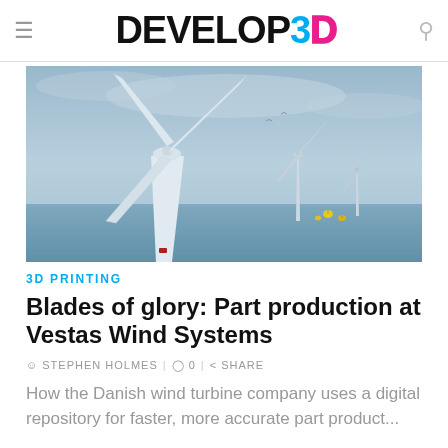DEVELOP3D
[Figure (photo): Offshore wind turbines photographed from low angle against overcast sky, with ocean in background and yellow marker buoys visible]
3D PRINTING
Blades of glory: Part production at Vestas Wind Systems
STEPHEN HOLMES | 0 | SHARE
How the Danish wind turbine company uses a digital repository for faster, more accurate part product...